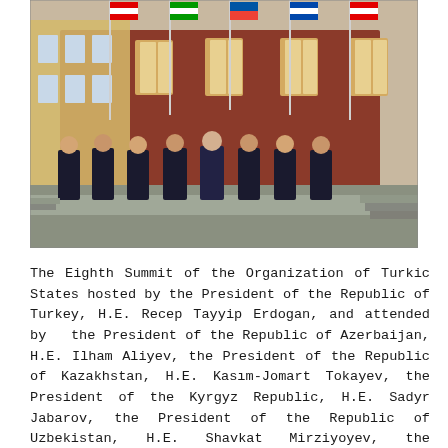[Figure (photo): Group photo of eight leaders in dark suits standing in front of a historic red and yellow building with flagpoles bearing national flags, taken outdoors during the Eighth Summit of the Organization of Turkic States.]
The Eighth Summit of the Organization of Turkic States hosted by the President of the Republic of Turkey, H.E. Recep Tayyip Erdogan, and attended by  the President of the Republic of Azerbaijan, H.E. Ilham Aliyev, the President of the Republic of Kazakhstan, H.E. Kasım-Jomart Tokayev, the President of the Kyrgyz Republic, H.E. Sadyr Jabarov, the President of the Republic of Uzbekistan, H.E. Shavkat Mirziyoyev, the President of Turkmenistan, H.E. Gurbangulu Berdimuhamedov, the Prime Minister of the Republic of Tajikistan, and the Secretary